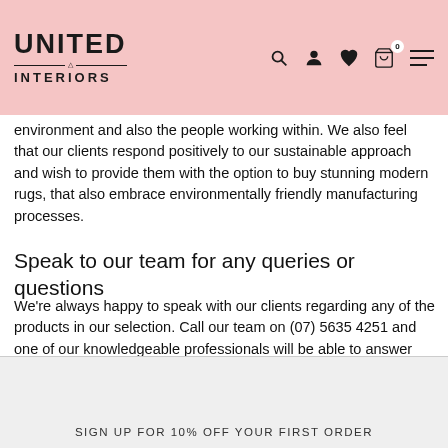United Interiors
environment and also the people working within. We also feel that our clients respond positively to our sustainable approach and wish to provide them with the option to buy stunning modern rugs, that also embrace environmentally friendly manufacturing processes.
Speak to our team for any queries or questions
We're always happy to speak with our clients regarding any of the products in our selection. Call our team on (07) 5635 4251 and one of our knowledgeable professionals will be able to answer any of your product, or shipping-based questions.
SIGN UP FOR 10% OFF YOUR FIRST ORDER